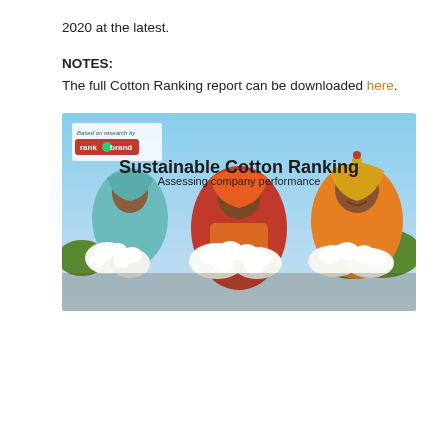2020 at the latest.
NOTES:
The full Cotton Ranking report can be downloaded here.
[Figure (photo): Cover image of the Sustainable Cotton Ranking report showing three women holding white cotton bolls against a blue sky, with text 'Sustainable Cotton Ranking – Assessing company performance' and a 'rank a brand' logo in the top left.]